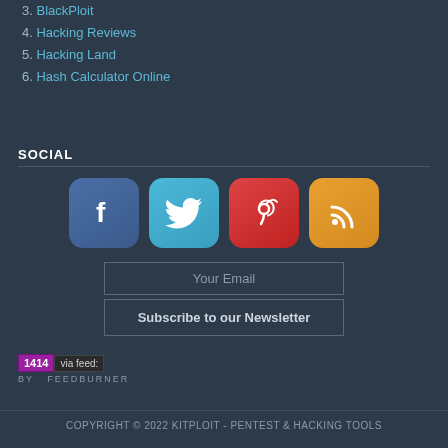3. BlackPloit
4. Hacking Reviews
5. Hacking Land
6. Hash Calculator Online
SOCIAL
[Figure (infographic): Social media icons: Facebook (blue), Twitter (light blue), Pinterest (red), RSS (orange/yellow)]
Your Email
Subscribe to our Newsletter
[Figure (infographic): FeedBurner badge showing 1414 subscribers via feed, by FEEDBURNER]
COPYRIGHT © 2022 KITPLOIT - PENTEST & HACKING TOOLS